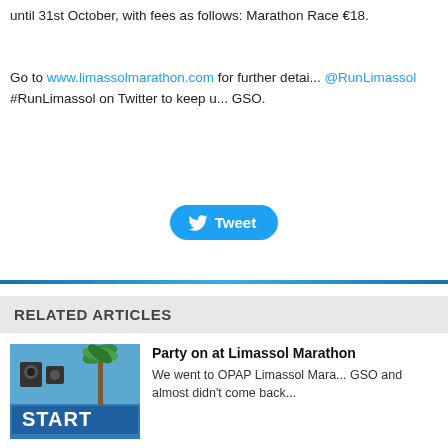until 31st October, with fees as follows: Marathon Race €18.
Go to www.limassolmarathon.com for further details and follow @RunLimassol #RunLimassol on Twitter to keep up to date. GSO.
[Figure (other): Tweet button with Twitter bird icon]
RELATED ARTICLES
[Figure (photo): Photo of marathon START sign with palm tree and blue sky]
Party on at Limassol Marathon
We went to OPAP Limassol Mara... GSO and almost didn't come back...
[Figure (photo): Aerial photo of Limassol coastline and city]
Yassou! Useful Greek phrases to OPAP Li...
With just 8 days to go we give you a useful language lesson ahead of the Limasso...